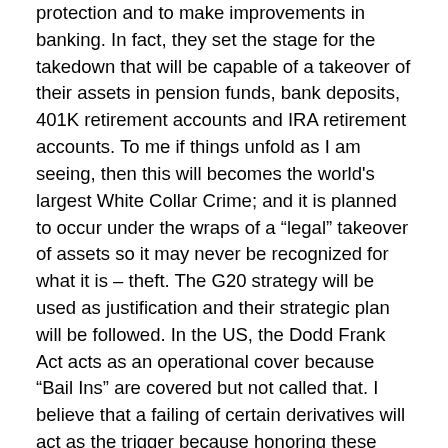protection and to make improvements in banking. In fact, they set the stage for the takedown that will be capable of a takeover of their assets in pension funds, bank deposits, 401K retirement accounts and IRA retirement accounts. To me if things unfold as I am seeing, then this will becomes the world's largest White Collar Crime; and it is planned to occur under the wraps of a "legal" takeover of assets so it may never be recognized for what it is – theft. The G20 strategy will be used as justification and their strategic plan will be followed. In the US, the Dodd Frank Act acts as an operational cover because "Bail Ins" are covered but not called that. I believe that a failing of certain derivatives will act as the trigger because honoring these derivatives would mean that certain G-SIFI banks would fail. However, the G20 Strategic Plan and the Dodd Frank Act state that this can never be allowed to happen; therefore, the G20 "Bail Ins" will be enacted to prevent this event. The Bail Ins will be the method used in the theft of the assets in order to